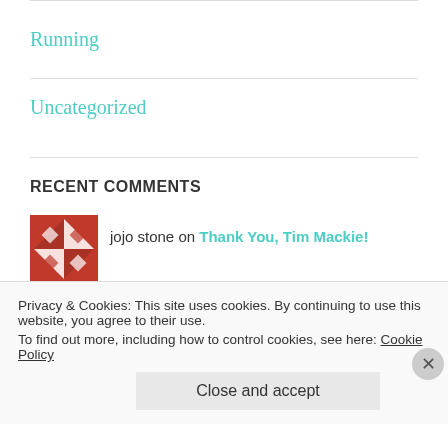Running
Uncategorized
RECENT COMMENTS
jojo stone on Thank You, Tim Mackie!
Thank You, Tim Macki... on Today, I Remember
Sharon Smith on The Soul Of Shame (book
Privacy & Cookies: This site uses cookies. By continuing to use this website, you agree to their use. To find out more, including how to control cookies, see here: Cookie Policy
Close and accept